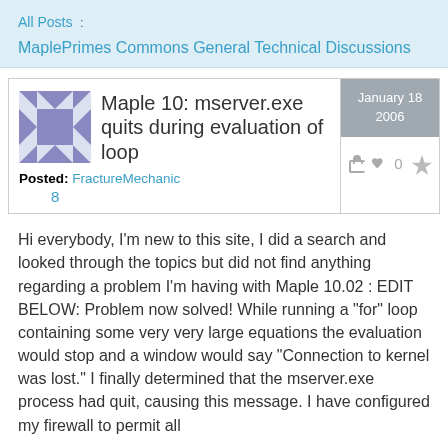All Posts : MaplePrimes Commons General Technical Discussions
Maple 10: mserver.exe quits during evaluation of loop
Posted: FractureMechanic 8
January 18 2006
0
Hi everybody, I'm new to this site, I did a search and looked through the topics but did not find anything regarding a problem I'm having with Maple 10.02 : EDIT BELOW: Problem now solved! While running a "for" loop containing some very very large equations the evaluation would stop and a window would say "Connection to kernel was lost." I finally determined that the mserver.exe process had quit, causing this message. I have configured my firewall to permit all